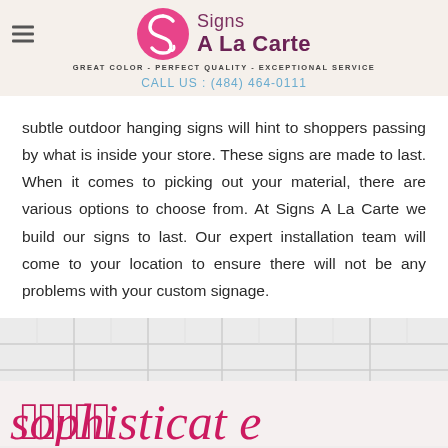Signs A La Carte | GREAT COLOR - PERFECT QUALITY - EXCEPTIONAL SERVICE | CALL US : (484) 464-0111
subtle outdoor hanging signs will hint to shoppers passing by what is inside your store. These signs are made to last. When it comes to picking out your material, there are various options to choose from. At Signs A La Carte we build our signs to last. Our expert installation team will come to your location to ensure there will not be any problems with your custom signage.
[Figure (photo): Photo of an interior room with white drop ceiling tiles and a pink/crimson script text sign on the wall reading 'sophisticate' or similar cursive word.]